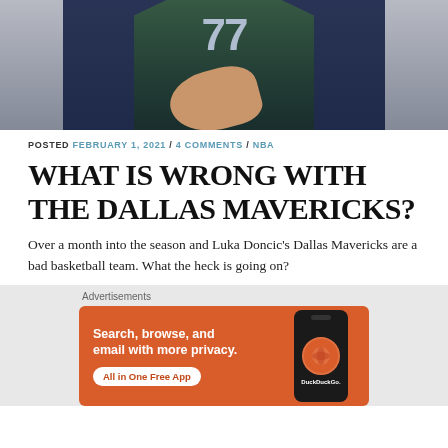[Figure (photo): Basketball player wearing Dallas Mavericks jersey number 77, gesturing with hands during a game.]
POSTED FEBRUARY 1, 2021 / 4 COMMENTS / NBA
WHAT IS WRONG WITH THE DALLAS MAVERICKS?
Over a month into the season and Luka Doncic's Dallas Mavericks are a bad basketball team. What the heck is going on?
[Figure (screenshot): DuckDuckGo advertisement banner: Search, browse, and email with more privacy. All in One Free App.]